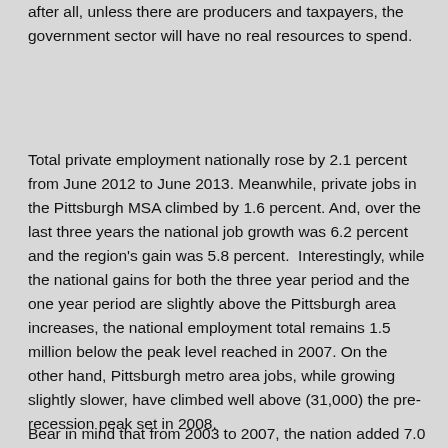after all, unless there are producers and taxpayers, the government sector will have no real resources to spend.
Total private employment nationally rose by 2.1 percent from June 2012 to June 2013. Meanwhile, private jobs in the Pittsburgh MSA climbed by 1.6 percent. And, over the last three years the national job growth was 6.2 percent and the region's gain was 5.8 percent.  Interestingly, while the national gains for both the three year period and the one year period are slightly above the Pittsburgh area increases, the national employment total remains 1.5 million below the peak level reached in 2007. On the other hand, Pittsburgh metro area jobs, while growing slightly slower, have climbed well above (31,000) the pre-recession peak set in 2008.
Bear in mind that from 2003 to 2007, the nation added 7.0...